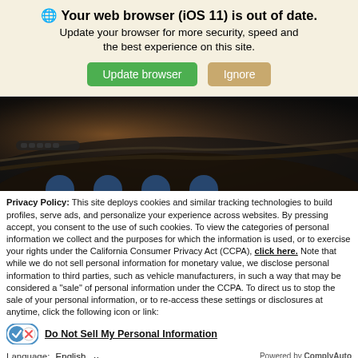🌐 Your web browser (iOS 11) is out of date. Update your browser for more security, speed and the best experience on this site.
[Figure (screenshot): Dark car interior dashboard photo used as website header background image]
Privacy Policy: This site deploys cookies and similar tracking technologies to build profiles, serve ads, and personalize your experience across websites. By pressing accept, you consent to the use of such cookies. To view the categories of personal information we collect and the purposes for which the information is used, or to exercise your rights under the California Consumer Privacy Act (CCPA), click here. Note that while we do not sell personal information for monetary value, we disclose personal information to third parties, such as vehicle manufacturers, in such a way that may be considered a "sale" of personal information under the CCPA. To direct us to stop the sale of your personal information, or to re-access these settings or disclosures at anytime, click the following icon or link:
Do Not Sell My Personal Information
Language: English  Powered by ComplyAuto
Accept and Continue → California Privacy Disclosures